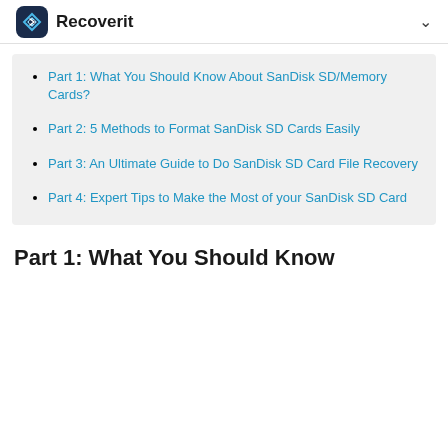Recoverit
Part 1: What You Should Know About SanDisk SD/Memory Cards?
Part 2: 5 Methods to Format SanDisk SD Cards Easily
Part 3: An Ultimate Guide to Do SanDisk SD Card File Recovery
Part 4: Expert Tips to Make the Most of your SanDisk SD Card
Part 1: What You Should Know